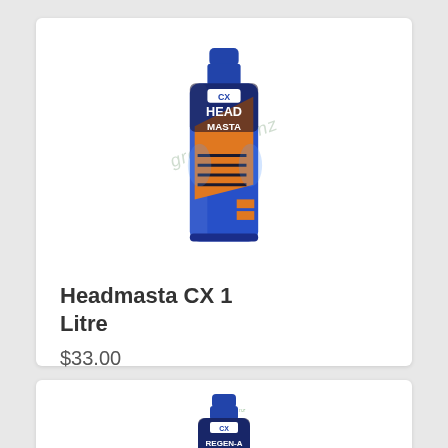[Figure (photo): Blue plastic bottle of CX Head Masta 1 Litre plant supplement with orange and dark label design, with a watermark reading 'growshop.nz']
Headmasta CX 1 Litre
$33.00
[Figure (photo): Partial view of a blue bottle labeled CX REGEN-A at the bottom of the page]